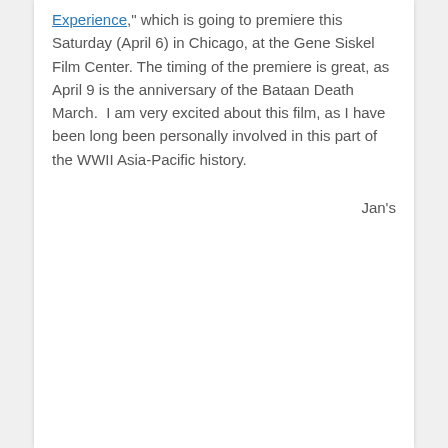Experience," which is going to premiere this Saturday (April 6) in Chicago, at the Gene Siskel Film Center. The timing of the premiere is great, as April 9 is the anniversary of the Bataan Death March.  I am very excited about this film, as I have been long been personally involved in this part of the WWII Asia-Pacific history.
Jan's